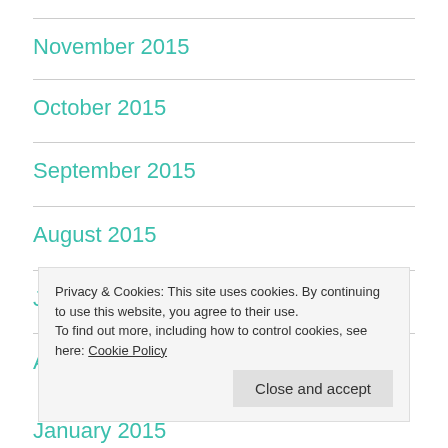November 2015
October 2015
September 2015
August 2015
July 2015
April 2015
January 2015
Privacy & Cookies: This site uses cookies. By continuing to use this website, you agree to their use.
To find out more, including how to control cookies, see here: Cookie Policy
Close and accept